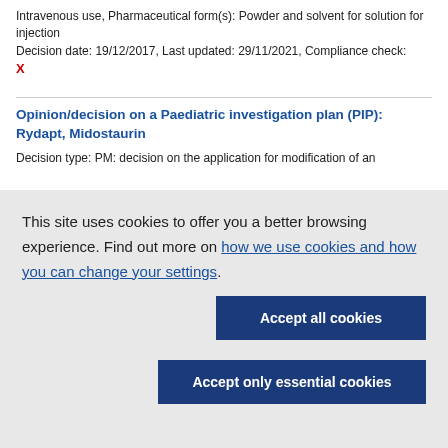Intravenous use, Pharmaceutical form(s): Powder and solvent for solution for injection
Decision date: 19/12/2017, Last updated: 29/11/2021, Compliance check: X
Opinion/decision on a Paediatric investigation plan (PIP): Rydapt, Midostaurin
Decision type: PM: decision on the application for modification of an
This site uses cookies to offer you a better browsing experience. Find out more on how we use cookies and how you can change your settings.